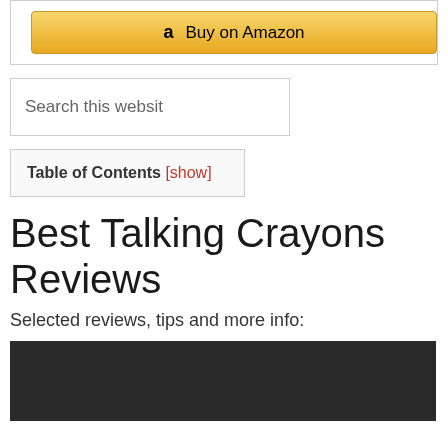[Figure (screenshot): Amazon Buy on Amazon button with Amazon logo]
[Figure (screenshot): Search this website input box]
Table of Contents [show]
Best Talking Crayons Reviews
Selected reviews, tips and more info:
[Figure (photo): Dark/black image placeholder at bottom of page]